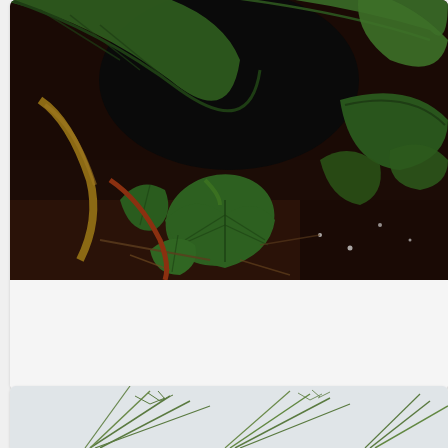[Figure (photo): Close-up photograph of tropical green plants with large heart-shaped and broad leaves on dark soil background with twigs]
7. Dwarf Date Palm (Phoenix roebelenii) ọọọ , ọọọọ Rư kuí
[Figure (photo): Partial photograph of Dwarf Date Palm (Phoenix roebelenii) showing thin palm fronds against a light background]